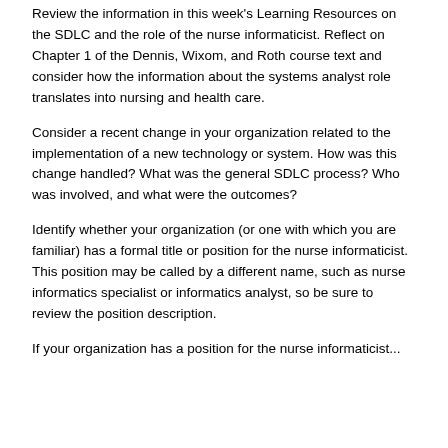Review the information in this week's Learning Resources on the SDLC and the role of the nurse informaticist. Reflect on Chapter 1 of the Dennis, Wixom, and Roth course text and consider how the information about the systems analyst role translates into nursing and health care.
Consider a recent change in your organization related to the implementation of a new technology or system. How was this change handled? What was the general SDLC process? Who was involved, and what were the outcomes?
Identify whether your organization (or one with which you are familiar) has a formal title or position for the nurse informaticist. This position may be called by a different name, such as nurse informatics specialist or informatics analyst, so be sure to review the position description.
If your organization has a position for the nurse informaticist...